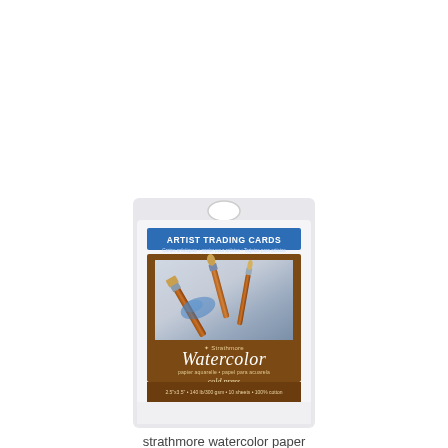[Figure (photo): Product image of Strathmore Watercolor Artist Trading Cards paper pack. The packaging shows a light gray/white plastic bag with a hang hole at the top. Inside the bag is a brown-covered pad with a blue banner reading 'ARTIST TRADING CARDS' and the Strathmore Watercolor logo with paint brushes illustrated on the cover. Text on cover includes 'Watercolor', 'cold press', and size/sheet information.]
strathmore watercolor paper
2.5&qu...
$3.75